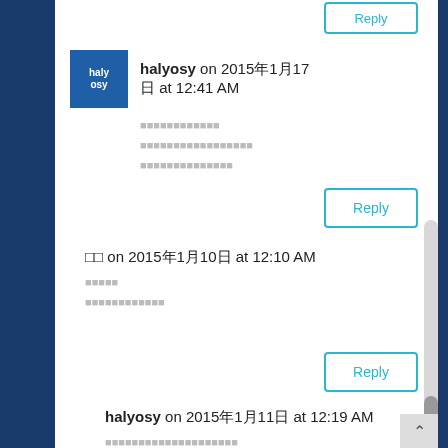[Figure (screenshot): Website comment section screenshot showing user comments with avatars, timestamps, and reply buttons. Background is dark navy blue with white content area.]
halyosy on 2015年1月17日 at 12:41 AM
[Japanese text - redacted/garbled characters]
Reply
□□ on 2015年1月10日 at 12:10 AM
[Japanese text - redacted/garbled characters]
Reply
halyosy on 2015年1月11日 at 12:19 AM
[Japanese text with Blessing - redacted/garbled characters]
Reply